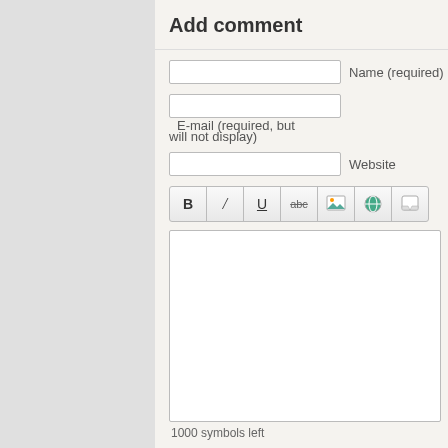Add comment
Name (required)
E-mail (required, but will not display)
Website
[Figure (screenshot): Text editor toolbar with buttons: Bold (B), Italic (I), Underline (U), strikethrough (abc), image, link, and comment/quote icons]
1000 symbols left
Notify me of follow-up comments
[Figure (photo): CAPTCHA image showing handwritten-style text 'dzx4v' in grey]